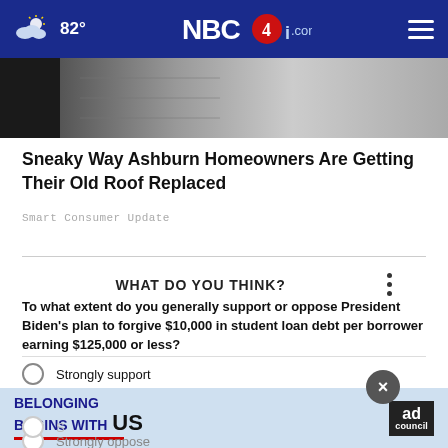82° NBC4i.com
[Figure (photo): Partial view of a roof with shingles, cropped at top of article]
Sneaky Way Ashburn Homeowners Are Getting Their Old Roof Replaced
Smart Consumer Update
WHAT DO YOU THINK?
To what extent do you generally support or oppose President Biden's plan to forgive $10,000 in student loan debt per borrower earning $125,000 or less?
Strongly support
Somewhat support
S[omewhat oppose]
Strongly oppose
[Figure (advertisement): Ad Council advertisement: BELONGING BEGINS WITH US]